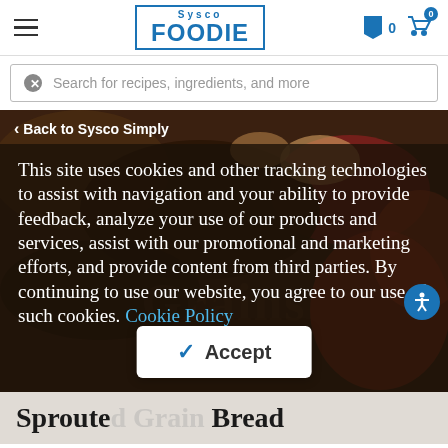Sysco FOODIE — 0 bookmarks, 0 cart items
Search for recipes, ingredients, and more
< Back to Sysco Simply
This site uses cookies and other tracking technologies to assist with navigation and your ability to provide feedback, analyze your use of our products and services, assist with our promotional and marketing efforts, and provide content from third parties. By continuing to use our website, you agree to our use of such cookies. Cookie Policy
Sprouted Grain Bread
Accept